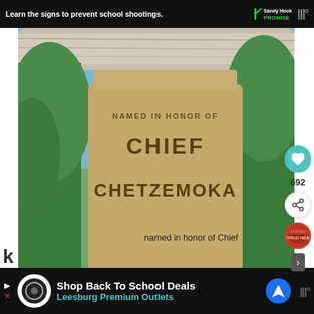[Figure (screenshot): Top ad banner with Sandy Hook Promise logo and 'Learn the signs to prevent school shootings' text on dark background]
[Figure (photo): Large photo of a wooden sign reading 'Named in honor of Chief Chetzemoka' hanging from a log beam with green trees and blue sky in background]
[Figure (screenshot): Popup overlay card reading 'The Big 5 Utah National Parks' with cyan icon and X close button, over a photo of red rock buttes in Utah desert landscape]
named in honor of Chief
[Figure (screenshot): Bottom ad banner for 'Shop Back To School Deals' at Leesburg Premium Outlets with navigation arrow icon]
K